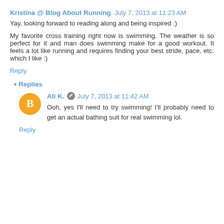Kristina @ Blog About Running  July 7, 2013 at 11:23 AM
Yay, looking forward to reading along and being inspired :)
My favorite cross training right now is swimming. The weather is so perfect for it and man does swimming make for a good workout. It feels a lot like running and requires finding your best stride, pace, etc. which I like :)
Reply
Replies
Ali K.   July 7, 2013 at 11:42 AM
Ooh, yes I'll need to try swimming! I'll probably need to get an actual bathing suit for real swimming lol.
Reply